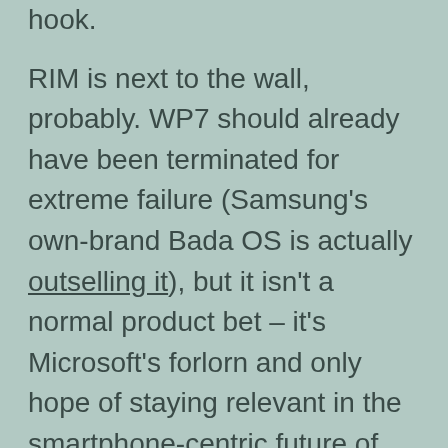hook.
RIM is next to the wall, probably. WP7 should already have been terminated for extreme failure (Samsung's own-brand Bada OS is actually outselling it), but it isn't a normal product bet – it's Microsoft's forlorn and only hope of staying relevant in the smartphone-centric future of computing. Thus, it will probably continue bleeding cash until it takes Microsoft down with it.
Apple's vulnerability shouldn't be underestimated. Yes, they're making money hand over fist and there has been adulatory